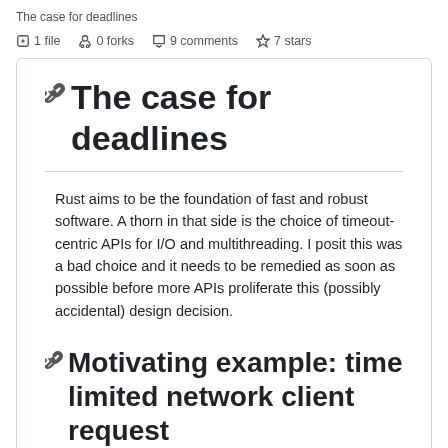The case for deadlines
1 file   0 forks   9 comments   7 stars
The case for deadlines
Rust aims to be the foundation of fast and robust software. A thorn in that side is the choice of timeout-centric APIs for I/O and multithreading. I posit this was a bad choice and it needs to be remedied as soon as possible before more APIs proliferate this (possibly accidental) design decision.
Motivating example: time limited network client request